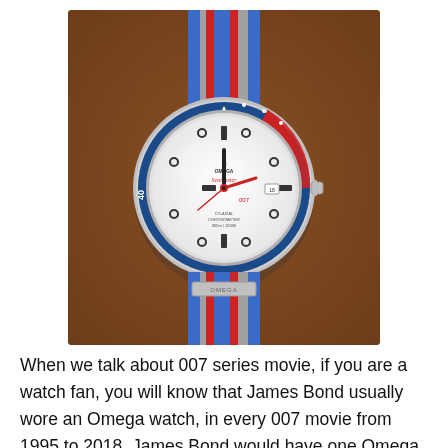[Figure (photo): An Omega Seamaster watch with a blue, red, and grey NATO strap resting on a brown suede watch case. The watch has a white dial with blue and red bezel, Omega logo, and 'Seamaster' text. An OMEGA branded buckle is visible on the strap.]
When we talk about 007 series movie, if you are a watch fan, you will know that James Bond usually wore an Omega watch, in every 007 movie from 1995 to 2018, James Bond would have one Omega watch.